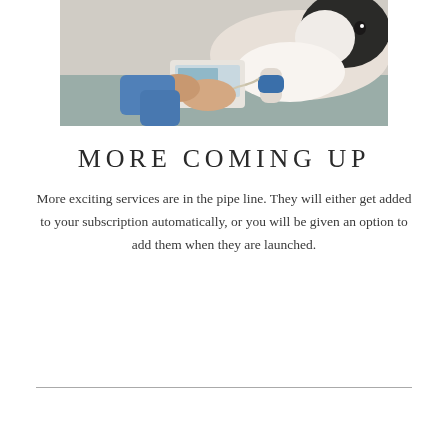[Figure (photo): A veterinarian examining a dog (appears to be a border collie) on an examination table, using medical monitoring equipment. The vet is wearing blue scrubs and handling a device with sensors attached to the dog's leg.]
MORE COMING UP
More exciting services are in the pipe line. They will either get added to your subscription automatically, or you will be given an option to add them when they are launched.